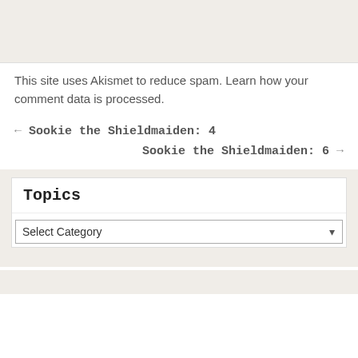[Figure (other): Gray/beige rectangular banner area at top of page]
This site uses Akismet to reduce spam. Learn how your comment data is processed.
← Sookie the Shieldmaiden: 4
Sookie the Shieldmaiden: 6 →
Topics
Select Category